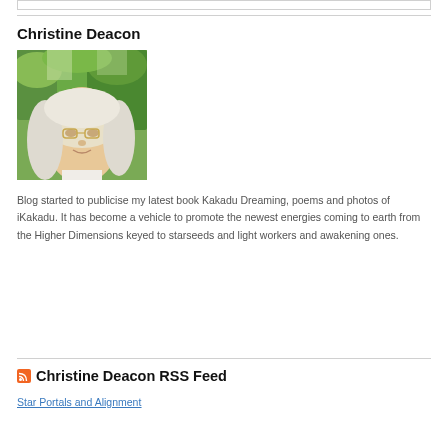Christine Deacon
[Figure (photo): Portrait photo of Christine Deacon, an older woman with long light-colored wavy hair and glasses, photographed outdoors with green tropical foliage in the background.]
Blog started to publicise my latest book Kakadu Dreaming, poems and photos of iKakadu. It has become a vehicle to promote the newest energies coming to earth from the Higher Dimensions keyed to starseeds and light workers and awakening ones.
Christine Deacon RSS Feed
Star Portals and Alignment